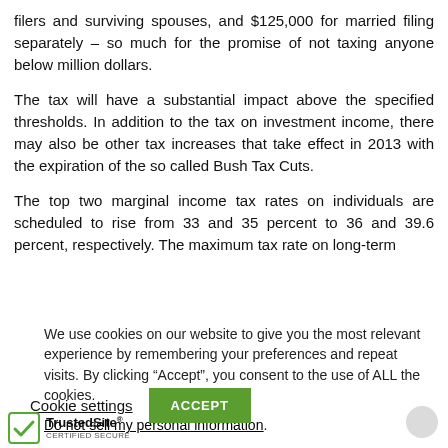filers and surviving spouses, and $125,000 for married filing separately – so much for the promise of not taxing anyone below million dollars.
The tax will have a substantial impact above the specified thresholds. In addition to the tax on investment income, there may also be other tax increases that take effect in 2013 with the expiration of the so called Bush Tax Cuts.
The top two marginal income tax rates on individuals are scheduled to rise from 33 and 35 percent to 36 and 39.6 percent, respectively. The maximum tax rate on long-term
We use cookies on our website to give you the most relevant experience by remembering your preferences and repeat visits. By clicking “Accept”, you consent to the use of ALL the cookies.
Do not sell my personal information.
Cookie settings   ACCEPT